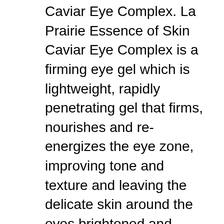Caviar Eye Complex. La Prairie Essence of Skin Caviar Eye Complex is a firming eye gel which is lightweight, rapidly penetrating gel that firms, nourishes and re-energizes the eye zone, improving tone and texture and leaving the delicate skin around the eyes brightened and hydrated.
La Prairie Essence of Skin Caviar Eye Complex with Caviar Extracts. La Prairie Essence of Skin Caviar Eye Complex with Caviar Extracts is in a clear light gel, which spreads and absorbs beautifully. You don't really need much at all to cover both of your eye areas. If you feel a bit of tightness around the eye...